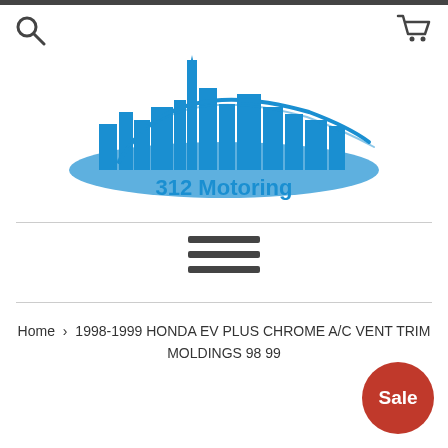[Figure (logo): 312 Motoring logo with blue city skyline silhouette and swoosh, with text '312 Motoring' below]
[Figure (other): Hamburger menu icon (three horizontal lines)]
Home › 1998-1999 HONDA EV PLUS CHROME A/C VENT TRIM MOLDINGS 98 99
Sale